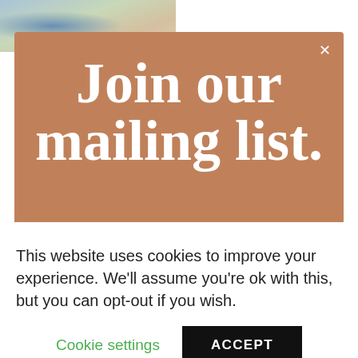[Figure (photo): Partial photo strip visible at top left corner showing a floral/nature background]
Join our mailing list.
Sign up below to receive our monthly email. You won't regret it. We promise...
EMAIL ADDRESS
This website uses cookies to improve your experience. We'll assume you're ok with this, but you can opt-out if you wish.
Cookie settings
ACCEPT